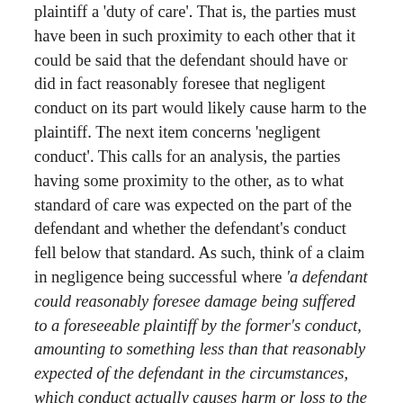First, the defendant must be seen to have owed the plaintiff a 'duty of care'. That is, the parties must have been in such proximity to each other that it could be said that the defendant should have or did in fact reasonably foresee that negligent conduct on its part would likely cause harm to the plaintiff. The next item concerns 'negligent conduct'. This calls for an analysis, the parties having some proximity to the other, as to what standard of care was expected on the part of the defendant and whether the defendant's conduct fell below that standard. As such, think of a claim in negligence being successful where 'a defendant could reasonably foresee damage being suffered to a foreseeable plaintiff by the former's conduct, amounting to something less than that reasonably expected of the defendant in the circumstances, which conduct actually causes harm or loss to the plaintiff.']